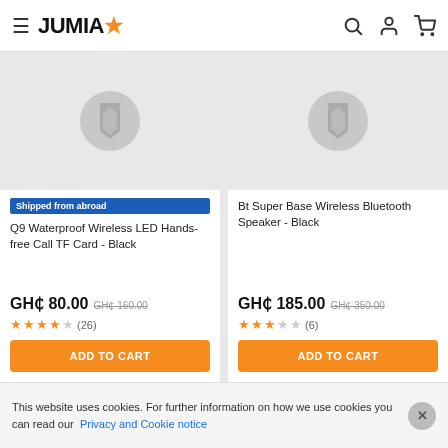JUMIA
[Figure (screenshot): Q9 Waterproof Wireless LED Hands-free Call TF Card - Black product card with placeholder image, Shipped from abroad badge, price GH¢ 80.00 (was GH¢ 160.00), 4 stars (26 reviews), ADD TO CART button]
[Figure (screenshot): Bt Super Base Wireless Bluetooth Speaker - Black product card with placeholder image, price GH¢ 185.00 (was GH¢ 350.00), 3 stars (6 reviews), ADD TO CART button]
POPULARITY  FILTER
This website uses cookies. For further information on how we use cookies you can read our Privacy and Cookie notice